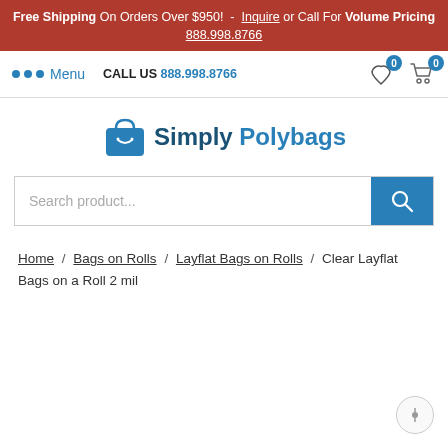Free Shipping On Orders Over $950! - Inquire or Call For Volume Pricing 888.998.8766
Menu  CALL US 888.998.8766
[Figure (logo): Simply Polybags logo with shopping bag icon]
Search product...
Home / Bags on Rolls / Layflat Bags on Rolls / Clear Layflat Bags on a Roll 2 mil